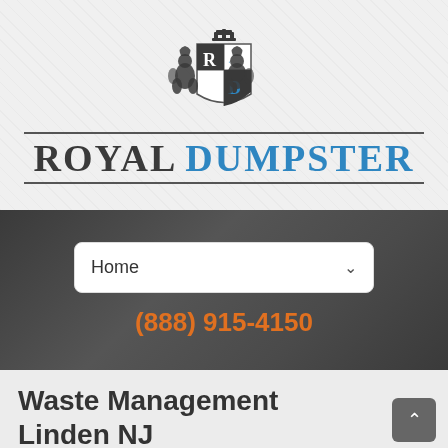[Figure (logo): Royal Dumpster logo with heraldic crest featuring two lions flanking a shield with R and D letters, crown on top, and 'ROYAL DUMPSTER' text below in dark and blue colors]
Home
(888) 915-4150
Waste Management Linden NJ